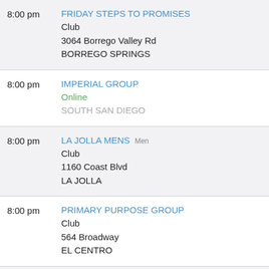8:00 pm | FRIDAY STEPS TO PROMISES | Club | 3064 Borrego Valley Rd | BORREGO SPRINGS
8:00 pm | IMPERIAL GROUP | Online | SOUTH SAN DIEGO
8:00 pm | LA JOLLA MENS Men | Club | 1160 Coast Blvd | LA JOLLA
8:00 pm | PRIMARY PURPOSE GROUP | Club | 564 Broadway | EL CENTRO
8:00 pm | SOBER MINDED LEATHER FOLK